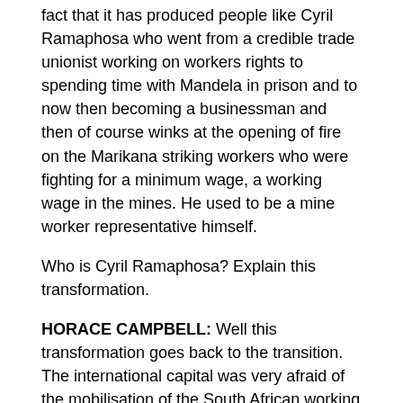fact that it has produced people like Cyril Ramaphosa who went from a credible trade unionist working on workers rights to spending time with Mandela in prison and to now then becoming a businessman and then of course winks at the opening of fire on the Marikana striking workers who were fighting for a minimum wage, a working wage in the mines. He used to be a mine worker representative himself.
Who is Cyril Ramaphosa? Explain this transformation.
HORACE CAMPBELL: Well this transformation goes back to the transition. The international capital was very afraid of the mobilisation of the South African working people; so they spent US $300 million setting up non-governmental organisations, talking about governance, anything to demobilise the working people and to cool out and remove those intellectuals that were calling for fundamental change.
The message that Ramaphosa got when he was working with Mandela in 1990 to 1993 was “Well the ANC is moving in a